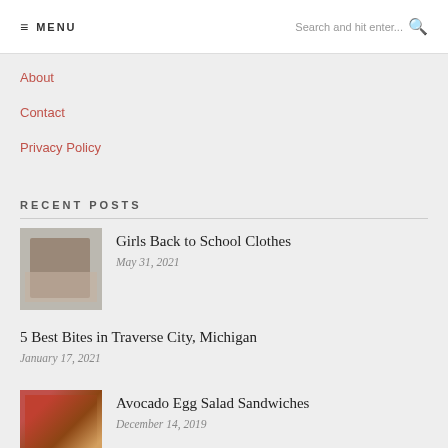≡ MENU  |  Search and hit enter...
About
Contact
Privacy Policy
RECENT POSTS
[Figure (photo): Girls in matching dresses standing together]
Girls Back to School Clothes
May 31, 2021
5 Best Bites in Traverse City, Michigan
January 17, 2021
[Figure (photo): Avocado egg salad sandwiches with tomatoes and greens]
Avocado Egg Salad Sandwiches
December 14, 2019